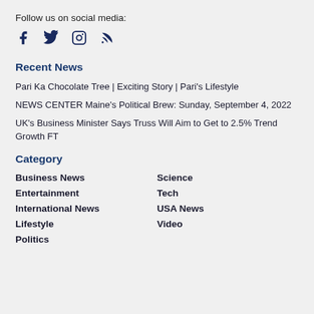Follow us on social media:
[Figure (illustration): Social media icons: Facebook, Twitter, Instagram, RSS feed]
Recent News
Pari Ka Chocolate Tree | Exciting Story | Pari's Lifestyle
NEWS CENTER Maine's Political Brew: Sunday, September 4, 2022
UK's Business Minister Says Truss Will Aim to Get to 2.5% Trend Growth FT
Category
Business News
Science
Entertainment
Tech
International News
USA News
Lifestyle
Video
Politics